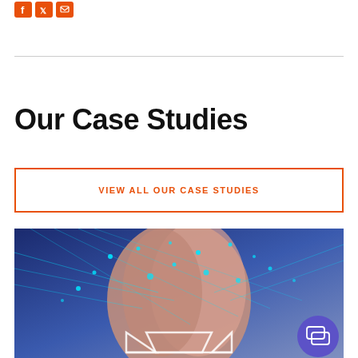[Social media icons: Facebook, Twitter/X, Email]
Our Case Studies
VIEW ALL OUR CASE STUDIES
[Figure (photo): A hand with digital technology overlay showing glowing cyan dots and circuit patterns, with a white geometric icon at the bottom center, and a purple chat bubble widget in the lower right corner.]